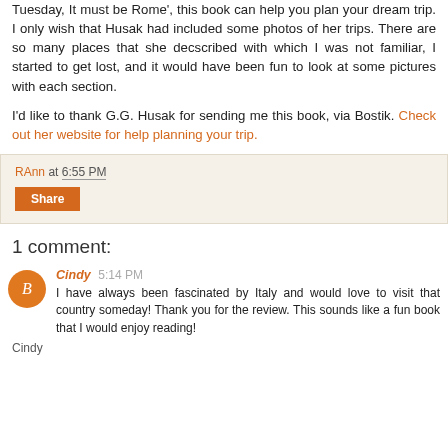Tuesday, It must be Rome', this book can help you plan your dream trip. I only wish that Husak had included some photos of her trips. There are so many places that she decscribed with which I was not familiar, I started to get lost, and it would have been fun to look at some pictures with each section.
I'd like to thank G.G. Husak for sending me this book, via Bostik. Check out her website for help planning your trip.
RAnn at 6:55 PM
Share
1 comment:
Cindy 5:14 PM
I have always been fascinated by Italy and would love to visit that country someday! Thank you for the review. This sounds like a fun book that I would enjoy reading!

Cindy